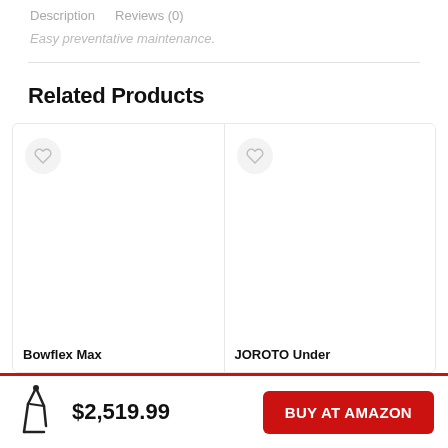Description   Reviews (0)
Easy preventative maintenance.
Related Products
[Figure (other): Product card for Bowflex Max with heart/wishlist button icon]
Bowflex Max
[Figure (other): Product card for JOROTO Under with heart/wishlist button icon]
JOROTO Under
[Figure (illustration): Small icon/logo of exercise equipment (elliptical/stepper machine)]
$2,519.99
BUY AT AMAZON